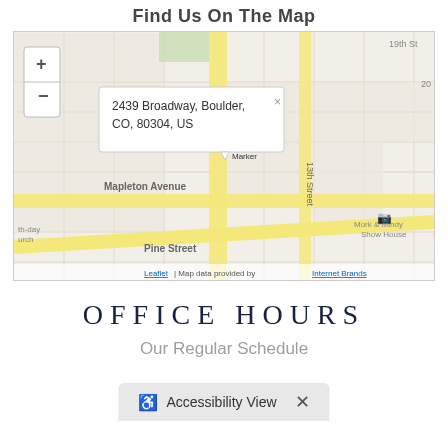Find Us On The Map
[Figure (map): Street map of Boulder, CO showing location of People's Medical Clinic at 2439 Broadway, Boulder, CO, 80304, US. Map shows streets including Mapleton Avenue, Pine Street, 13th Street, 19th St. Popup shows address. Map data provided by Internet Brands via Leaflet.]
OFFICE HOURS
Our Regular Schedule
Accessibility View  ×